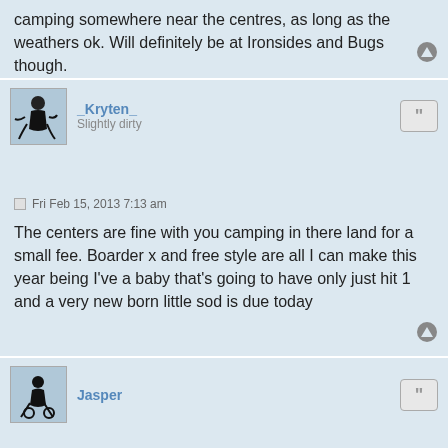camping somewhere near the centres, as long as the weathers ok. Will definitely be at Ironsides and Bugs though.
_Kryten_
Slightly dirty
Fri Feb 15, 2013 7:13 am
The centers are fine with you camping in there land for a small fee. Boarder x and free style are all I can make this year being I've a baby that's going to have only just hit 1 and a very new born little sod is due today
Jasper
Fri Feb 15, 2013 12:46 pm
camp near! D:

Camp on site, u cant miss the party!